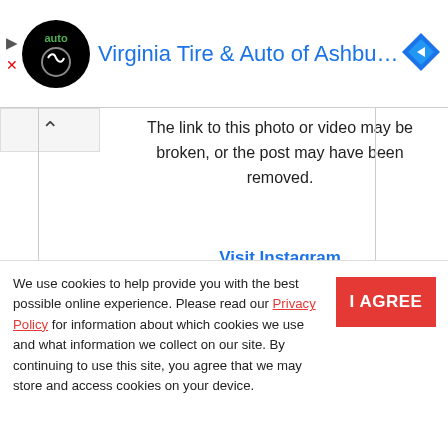[Figure (screenshot): Ad banner for Virginia Tire & Auto of Ashburn with logo and navigation icon]
The link to this photo or video may be broken, or the post may have been removed.
Visit Instagram
We use cookies to help provide you with the best possible online experience. Please read our Privacy Policy for information about which cookies we use and what information we collect on our site. By continuing to use this site, you agree that we may store and access cookies on your device.